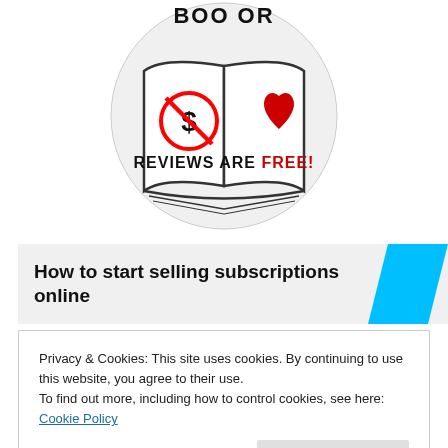[Figure (logo): Book reviewer logo: open book with a no-dollar-sign symbol on left page and red heart on right page, inside a circle. Text below reads 'REVIEWS ARE FREE!' with 'FREE!' in red. Partial text at top reads 'BOOK...OR'.]
[Figure (infographic): Ad banner: bold text 'How to start selling subscriptions online' with a cyan/blue parallelogram shape on the right.]
Privacy & Cookies: This site uses cookies. By continuing to use this website, you agree to their use.
To find out more, including how to control cookies, see here: Cookie Policy